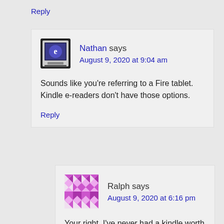Reply
Nathan says
August 9, 2020 at 9:04 am
Sounds like you’re referring to a Fire tablet. Kindle e-readers don’t have those options.
Reply
Ralph says
August 9, 2020 at 6:16 pm
Your right. I’ve never had a kindle worth TTS.